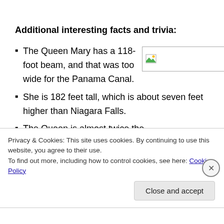Additional interesting facts and trivia:
The Queen Mary has a 118-foot beam, and that was too wide for the Panama Canal.
She is 182 feet tall, which is about seven feet higher than Niagara Falls.
The Queen is almost twice the
Privacy & Cookies: This site uses cookies. By continuing to use this website, you agree to their use.
To find out more, including how to control cookies, see here: Cookie Policy